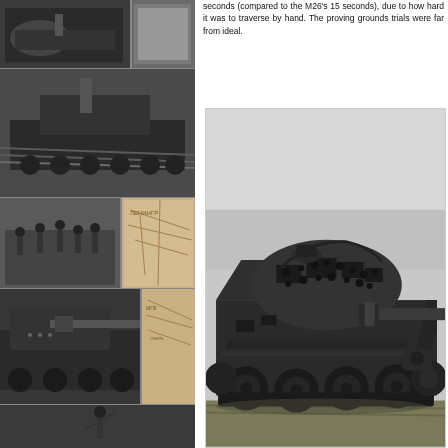[Figure (photo): Left column collage of historical black-and-white photographs showing various WWII-era tanks, soldiers, maps, and military scenes arranged in a grid layout]
seconds (compared to the M26's 15 seconds), due to how hard it was to traverse by hand. The proving grounds trials were far from ideal.
[Figure (photo): Black-and-white photograph of a heavily battle-damaged Sherman or similar WWII-era tank with its turret visibly destroyed and hull riddled with holes, sitting on grass]